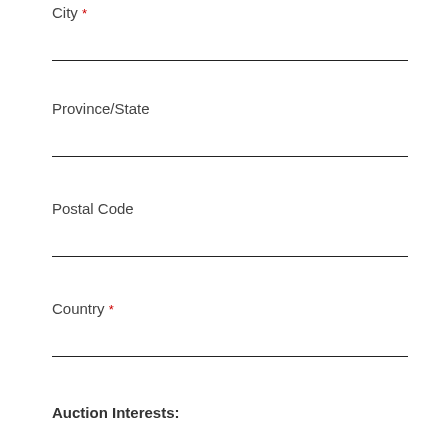City *
Province/State
Postal Code
Country *
Auction Interests: